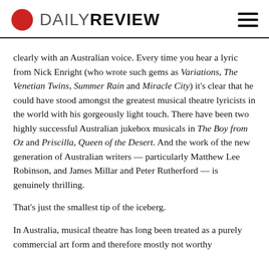DAILY REVIEW
clearly with an Australian voice. Every time you hear a lyric from Nick Enright (who wrote such gems as Variations, The Venetian Twins, Summer Rain and Miracle City) it's clear that he could have stood amongst the greatest musical theatre lyricists in the world with his gorgeously light touch. There have been two highly successful Australian jukebox musicals in The Boy from Oz and Priscilla, Queen of the Desert. And the work of the new generation of Australian writers — particularly Matthew Lee Robinson, and James Millar and Peter Rutherford — is genuinely thrilling.
That's just the smallest tip of the iceberg.
In Australia, musical theatre has long been treated as a purely commercial art form and therefore mostly not worthy of...